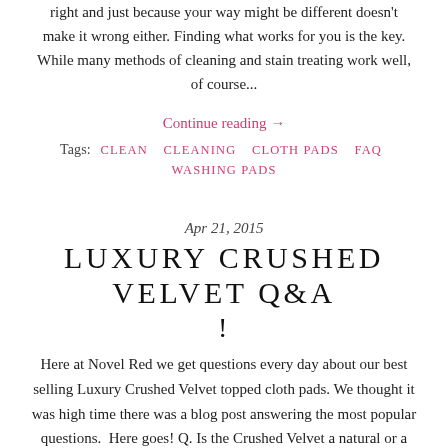right and just because your way might be different doesn't make it wrong either. Finding what works for you is the key. While many methods of cleaning and stain treating work well, of course...
Continue reading →
Tags:  CLEAN   CLEANING   CLOTH PADS   FAQ  WASHING PADS
Apr 21, 2015
LUXURY CRUSHED VELVET Q&A !
Here at Novel Red we get questions every day about our best selling Luxury Crushed Velvet topped cloth pads. We thought it was high time there was a blog post answering the most popular questions.  Here goes! Q. Is the Crushed Velvet a natural or a